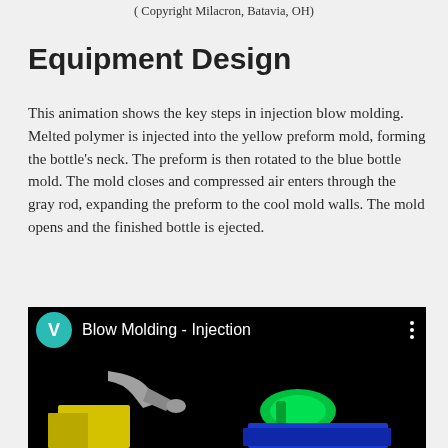( Copyright Milacron, Batavia, OH)
Equipment Design
This animation shows the key steps in injection blow molding. Melted polymer is injected into the yellow preform mold, forming the bottle’s neck. The preform is then rotated to the blue bottle mold. The mold closes and compressed air enters through the gray rod, expanding the preform to the cool mold walls. The mold opens and the finished bottle is ejected.
[Figure (screenshot): Video thumbnail showing a blow molding injection animation with a teal V circle logo, title 'Blow Molding - Injection', and a 3D render of mold components including a gray rod, yellow preform mold, and green bottle shape on a blue mold background.]